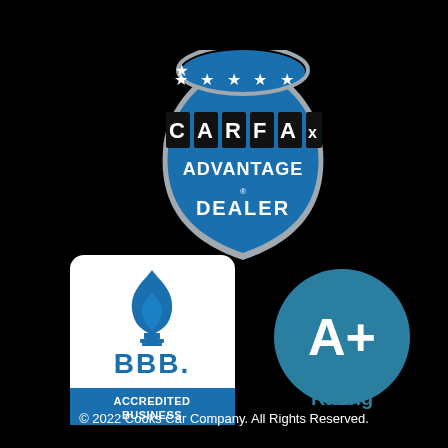[Figure (logo): CARFAX Advantage Dealer badge — blue shield shape with silver border, five white stars across top, black boxes with white letters spelling C A R F A x, white text ADVANTAGE DEALER below]
[Figure (logo): Better Business Bureau Accredited Business seal — white rounded rectangle with blue BBB torch flame logo, blue text BBB. ACCREDITED BUSINESS]
[Figure (logo): A+ Rating badge — dark teal circle with white bold text A+ and teal text Rating below]
© 2022 Cooks Car Company. All Rights Reserved.